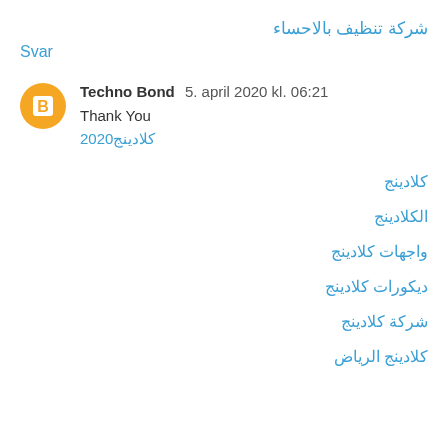شركة تنظيف بالاحساء
Svar
Techno Bond  5. april 2020 kl. 06:21
Thank You
كلادينج2020
كلادينج
الكلادينج
واجهات كلادينج
ديكورات كلادينج
شركة كلادينج
كلادينج الرياض